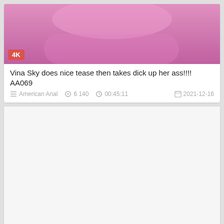[Figure (screenshot): Video thumbnail showing pink bikini content with 4K badge overlay]
Vina Sky does nice tease then takes dick up her ass!!!! AA069
American Anal   6 140   00:45:11   2021-12-16
[Figure (screenshot): White/blank video thumbnail with 4K badge overlay at bottom left]
Maddy Mae puts whole fist in her ass........ALL ANAL / GAPES ...
American Anal   3 436   00:43:05   2021-11-30
[Figure (screenshot): Partial third card thumbnail, mostly white/blank]